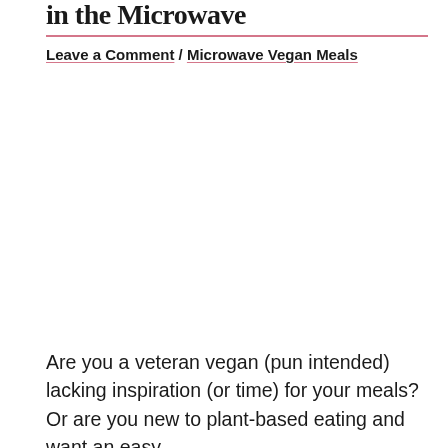in the Microwave
Leave a Comment / Microwave Vegan Meals
Are you a veteran vegan (pun intended) lacking inspiration (or time) for your meals? Or are you new to plant-based eating and want an easy